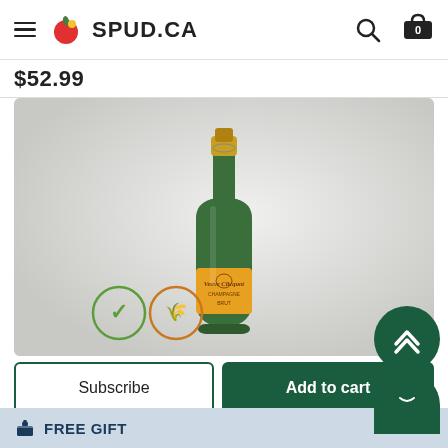≡ 🍅 SPUD.CA
$52.99
[Figure (photo): A bottle of Veuve Clicquot Champagne with its iconic yellow-orange label and green glass bottle, displayed against a light grey background. Two badges visible at bottom left: a vegan checkmark badge and a gluten-free badge.]
Subscribe
Add to cart
5 Vines Wine, Craft Beer, & Spirits
🎁 FREE GIFT